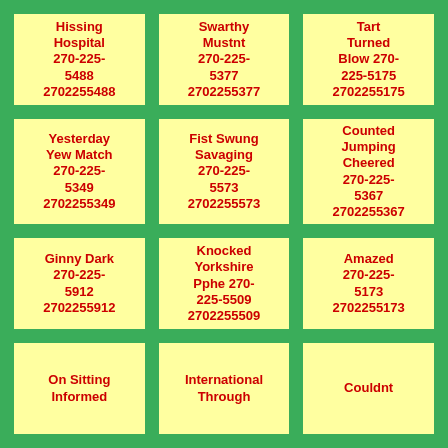Hissing Hospital 270-225-5488 2702255488
Swarthy Mustnt 270-225-5377 2702255377
Tart Turned Blow 270-225-5175 2702255175
Yesterday Yew Match 270-225-5349 2702255349
Fist Swung Savaging 270-225-5573 2702255573
Counted Jumping Cheered 270-225-5367 2702255367
Ginny Dark 270-225-5912 2702255912
Knocked Yorkshire Pphe 270-225-5509 2702255509
Amazed 270-225-5173 2702255173
On Sitting Informed
International Through
Couldnt